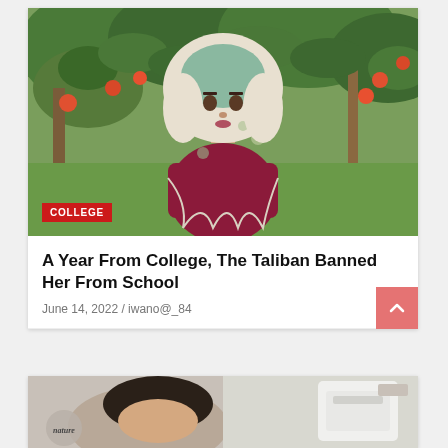[Figure (photo): A young woman wearing a floral hijab and dark maroon top, arms crossed, standing in front of apple trees with green grass. A red 'COLLEGE' badge overlays the bottom-left of the image.]
A Year From College, The Taliban Banned Her From School
June 14, 2022 / iwano@_84
[Figure (photo): Partial view of a second article card showing a person and a white appliance-type object next to a 'nature' circular badge on the left side.]